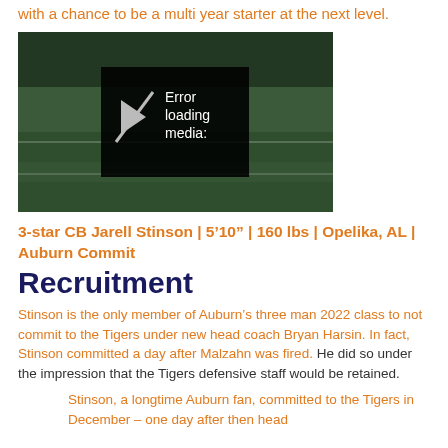with a chance to be a multi year starter at the next level.
[Figure (screenshot): Video player showing error loading media with a football game in the background]
3-star CB Jarell Stinson | 5'10" | 160 lbs | Opelika, AL | Auburn Commit
Recruitment
Stinson is the only member of Auburn's three man 2022 class to not commit to the Tigers under new head coach Bryan Harsin. In fact, Stinson committed a day after Malzahn was fired. He did so under the impression that the Tigers defensive staff would be retained.
Stinson, a longtime Auburn fan, committed to the Tigers in December – one day after then head